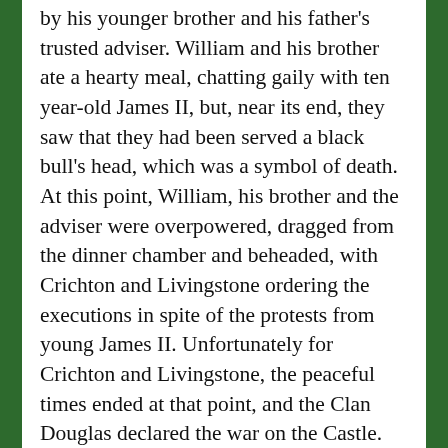by his younger brother and his father's trusted adviser. William and his brother ate a hearty meal, chatting gaily with ten year-old James II, but, near its end, they saw that they had been served a black bull's head, which was a symbol of death. At this point, William, his brother and the adviser were overpowered, dragged from the dinner chamber and beheaded, with Crichton and Livingstone ordering the executions in spite of the protests from young James II. Unfortunately for Crichton and Livingstone, the peaceful times ended at that point, and the Clan Douglas declared the war on the Castle.
Advertisements
[Figure (logo): Pressable logo with blue icon and text, followed by dots]
The Platform Where WordPress